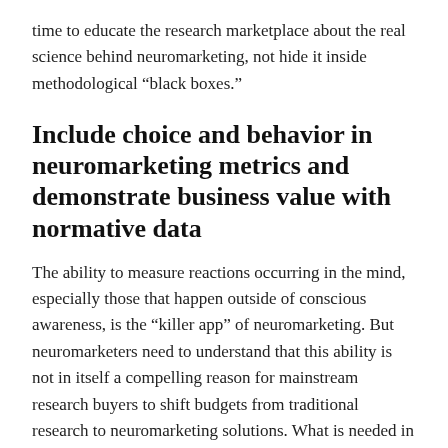time to educate the research marketplace about the real science behind neuromarketing, not hide it inside methodological “black boxes.”
Include choice and behavior in neuromarketing metrics and demonstrate business value with normative data
The ability to measure reactions occurring in the mind, especially those that happen outside of conscious awareness, is the “killer app” of neuromarketing. But neuromarketers need to understand that this ability is not in itself a compelling reason for mainstream research buyers to shift budgets from traditional research to neuromarketing solutions. What is needed in addition is a clear demonstration that these reactions can provide better predictions of consumer choices and behaviors, the outcomes that mainstream buyers really